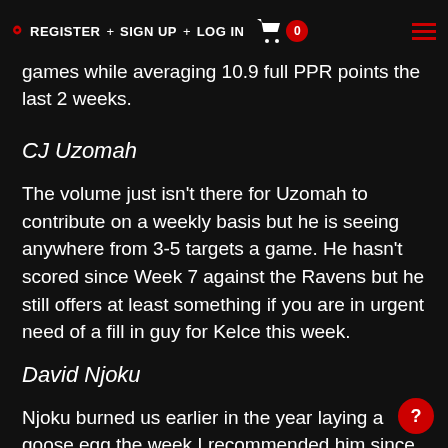REGISTER + SIGN UP + LOG IN
Hooper offers a solid floor in this awful TE environment. He has scored in 3 of his last 4 games while averaging 10.9 full PPR points the last 2 weeks.
CJ Uzomah
The volume just isn't there for Uzomah to contribute on a weekly basis but he is seeing anywhere from 3-5 targets a game. He hasn't scored since Week 7 against the Ravens but he still offers at least something if you are in urgent need of a fill in guy for Kelce this week.
David Njoku
Njoku burned us earlier in the year laying a goose egg the week I recommended him since the Browns were short-handed that week. Well the Browns are living short-handed and Njoku is still under performing. He has seen an average of 3.5 targets a game the last 4 weeks so in